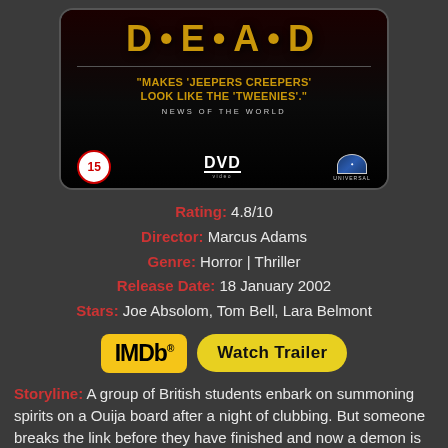[Figure (photo): DVD cover of a horror/thriller movie. Dark background with golden title letters, quote reading "MAKES 'JEEPERS CREEPERS' LOOK LIKE THE 'TWEENIES'." - NEWS OF THE WORLD, age rating 15 badge, DVD Video logo, Universal logo.]
Rating: 4.8/10
Director: Marcus Adams
Genre: Horror | Thriller
Release Date: 18 January 2002
Stars: Joe Absolom, Tom Bell, Lara Belmont
[Figure (logo): IMDb logo button (yellow rounded rectangle with IMDb text) and Watch Trailer button (yellow pill-shaped button)]
Storyline: A group of British students enbark on summoning spirits on a Ouija board after a night of clubbing. But someone breaks the link before they have finished and now a demon is